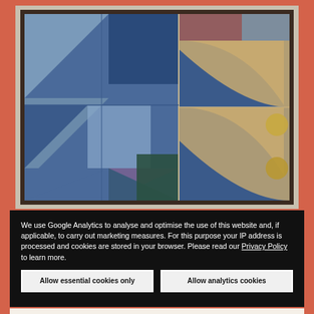[Figure (illustration): A framed geometric abstract painting featuring blue triangles, golden curved shapes, and circular elements arranged in a grid-like composition. The painting combines light blue, dark blue, gold/beige, muted purple, and dark green geometric shapes. The frame is dark brown/black.]
We use Google Analytics to analyse and optimise the use of this website and, if applicable, to carry out marketing measures. For this purpose your IP address is processed and cookies are stored in your browser. Please read our Privacy Policy to learn more.